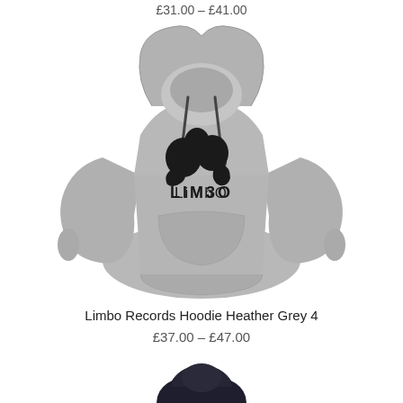£31.00 – £41.00
[Figure (photo): Grey hoodie with Limbo Records logo on the chest, front view on white background]
Limbo Records Hoodie Heather Grey 4
£37.00 – £47.00
[Figure (photo): Bottom portion of a dark navy/black hoodie, cropped, front view on white background]